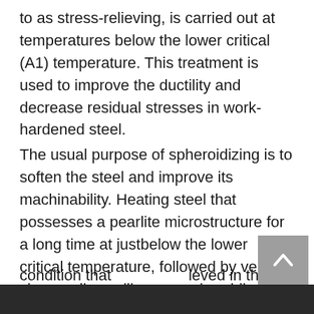to as stress-relieving, is carried out at temperatures below the lower critical (A1) temperature. This treatment is used to improve the ductility and decrease residual stresses in work-hardened steel.
The usual purpose of spheroidizing is to soften the steel and improve its machinability. Heating steel that possesses a pearlite microstructure for a long time at justbelow the lower critical temperature, followed by very slow cooling, will causes pheroidization. This is an agglomeration of the iron carbide, which eventually assumes a spheroidal shape. The properties of this product normally represent the softest condition that [obscured] ieved in the